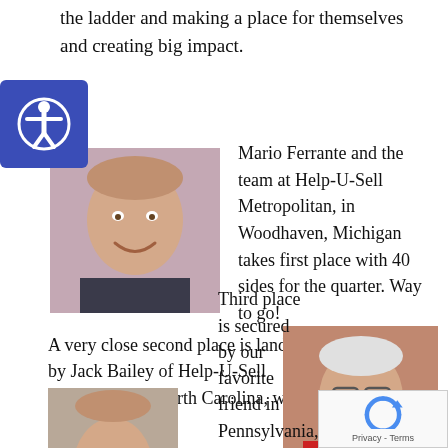the ladder and making a place for themselves and creating big impact.
[Figure (photo): Accessibility icon button overlay]
[Figure (photo): Headshot of Mario Ferrante, a smiling middle-aged man]
Mario Ferrante and the team at Help-U-Sell Metropolitan, in Woodhaven, Michigan takes first place with 40 sides for the quarter. Way to go!
A very close second place is landed by Jack Bailey of Help-U-Sell Greensboro in North Carolina, with 37 total sides.
[Figure (photo): Photo of Jack Bailey, an older man with white hair and mustache wearing a red shirt]
[Figure (photo): reCAPTCHA widget overlay]
[Figure (photo): Partial headshot at bottom left]
Third place is secured by our favorite friend in Pennsylvania,